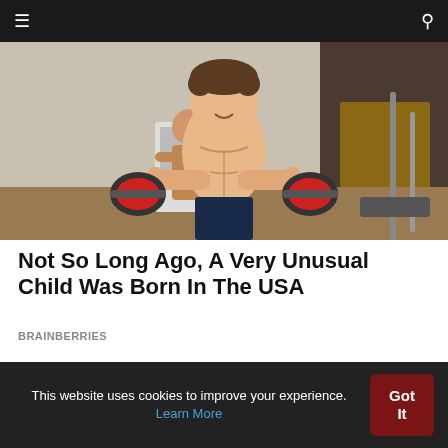≡   🔍
[Figure (photo): A muscular young boy lifting dumbbells in a gym setting, with another child visible in the background]
Not So Long Ago, A Very Unusual Child Was Born In The USA
BRAINBERRIES
This website uses cookies to improve your experience. Learn More
Got It